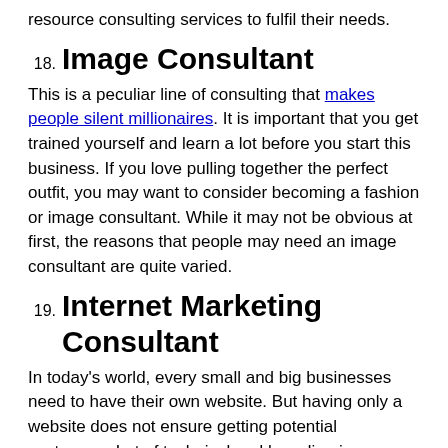resource consulting services to fulfil their needs.
18. Image Consultant
This is a peculiar line of consulting that makes people silent millionaires. It is important that you get trained yourself and learn a lot before you start this business. If you love pulling together the perfect outfit, you may want to consider becoming a fashion or image consultant. While it may not be obvious at first, the reasons that people may need an image consultant are quite varied.
19. Internet Marketing Consultant
In today's world, every small and big businesses need to have their own website. But having only a website does not ensure getting potential customers. Lot of technical and branding issues are needed to turn a website to an effective marketing tool. Here, you can work successfully as an internet marketing consultant. This is one of the most profitable advertising business ideas.
20. IT Consultant